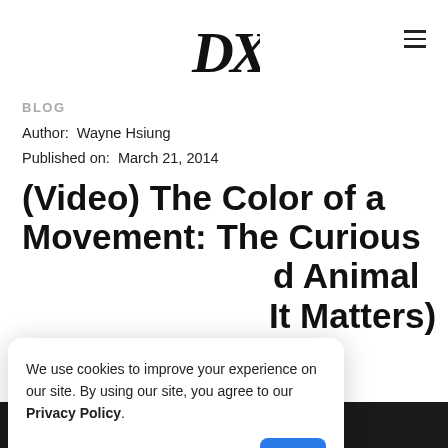DXE logo and navigation menu
BLOG
Author: Wayne Hsiung
Published on: March 21, 2014
(Video) The Color of a Movement: The Curious [Shape of Race] and Animal [Rights — Why] It Matters)
We use cookies to improve your experience on our site. By using our site, you agree to our Privacy Policy.